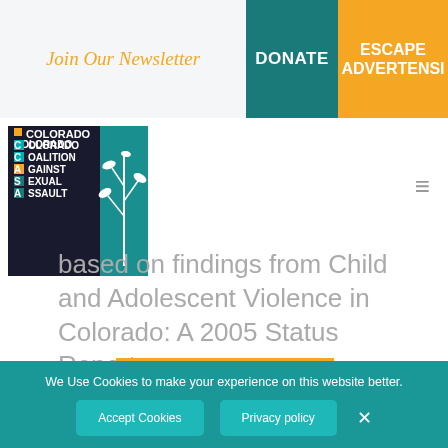Join Our Newsletter | DONATE | ESCAPE ADVERTENSI
[Figure (logo): Colorado Coalition Against Sexual Assault (CCASA) logo — teal square with white text and leaf/branch graphic]
based on findings from Child and Adolescent Violence in Colorado: A 2005 Status Report. …
READ MORE
We Use Cookies to make your experience on this website better.
Accept Cookies | Privacy policy